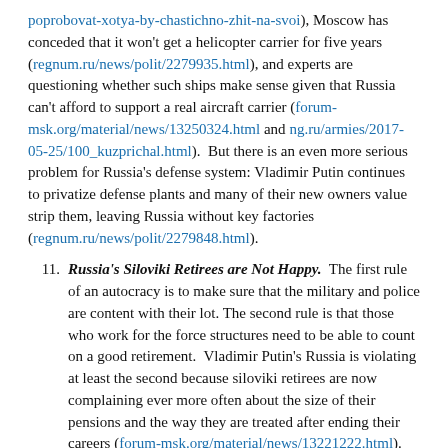poprobovat-xotya-by-chastichno-zhit-na-svoi), Moscow has conceded that it won't get a helicopter carrier for five years (regnum.ru/news/polit/2279935.html), and experts are questioning whether such ships make sense given that Russia can't afford to support a real aircraft carrier (forum-msk.org/material/news/13250324.html and ng.ru/armies/2017-05-25/100_kuzprichal.html).  But there is an even more serious problem for Russia's defense system: Vladimir Putin continues to privatize defense plants and many of their new owners value strip them, leaving Russia without key factories (regnum.ru/news/polit/2279848.html).
11. Russia's Siloviki Retirees are Not Happy.  The first rule of an autocracy is to make sure that the military and police are content with their lot. The second rule is that those who work for the force structures need to be able to count on a good retirement.  Vladimir Putin's Russia is violating at least the second because siloviki retirees are now complaining ever more often about the size of their pensions and the way they are treated after ending their careers (forum-msk.org/material/news/13221222.html).